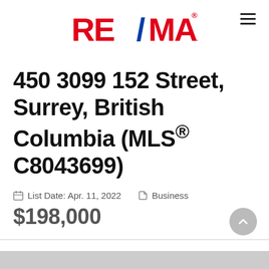[Figure (logo): RE/MAX logo in red and blue]
450 3099 152 Street, Surrey, British Columbia (MLS® C8043699)
List Date: Apr. 11, 2022   Business
$198,000